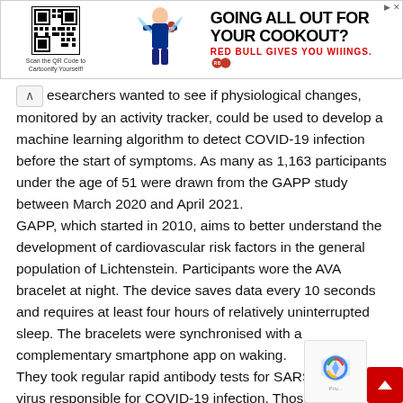[Figure (other): Red Bull advertisement banner with QR code, cartoon character, and text 'GOING ALL OUT FOR YOUR COOKOUT? RED BULL GIVES YOU WIIINGS.']
researchers wanted to see if physiological changes, monitored by an activity tracker, could be used to develop a machine learning algorithm to detect COVID-19 infection before the start of symptoms. As many as 1,163 participants under the age of 51 were drawn from the GAPP study between March 2020 and April 2021. GAPP, which started in 2010, aims to better understand the development of cardiovascular risk factors in the general population of Lichtenstein. Participants wore the AVA bracelet at night. The device saves data every 10 seconds and requires at least four hours of relatively uninterrupted sleep. The bracelets were synchronised with a complementary smartphone app on waking. They took regular rapid antibody tests for SARS-CoV-2, virus responsible for COVID-19 infection. Those with indic...